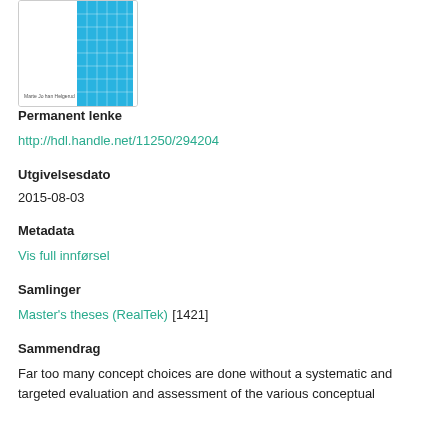[Figure (illustration): Book cover thumbnail showing a blue grid pattern on the right side and author name on the bottom left]
Permanent lenke
http://hdl.handle.net/11250/294204
Utgivelsesdato
2015-08-03
Metadata
Vis full innførsel
Samlinger
Master's theses (RealTek) [1421]
Sammendrag
Far too many concept choices are done without a systematic and targeted evaluation and assessment of the various conceptual solutions...